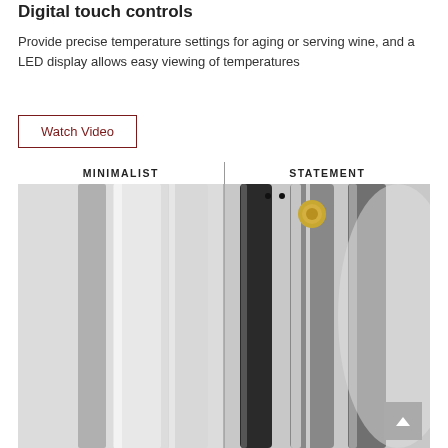Digital touch controls
Provide precise temperature settings for aging or serving wine, and a LED display allows easy viewing of temperatures
Watch Video
[Figure (photo): Side-by-side comparison of two wine cooler handle styles labeled MINIMALIST (left) and STATEMENT (right), divided by a vertical line. The minimalist side shows simple silver/white flat handles, while the statement side shows black and polished steel cylindrical handles with gold accents.]